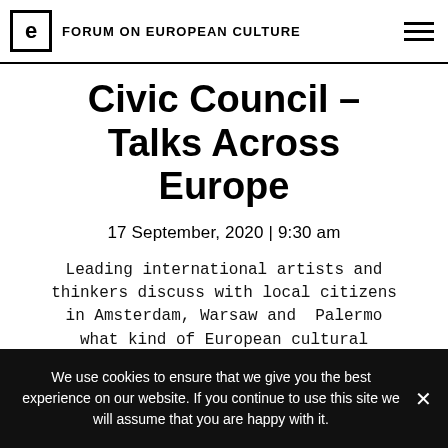FORUM ON EUROPEAN CULTURE
Civic Council – Talks Across Europe
17 September, 2020 | 9:30 am
Leading international artists and thinkers discuss with local citizens in Amsterdam, Warsaw and Palermo what kind of European cultural identity or demos we need as a foundation for…
We use cookies to ensure that we give you the best experience on our website. If you continue to use this site we will assume that you are happy with it.